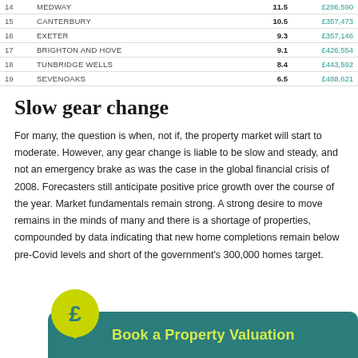| # | Location | Rate | Price |
| --- | --- | --- | --- |
| 14 | MEDWAY | 11.5 | £286,590 |
| 15 | CANTERBURY | 10.5 | £357,473 |
| 16 | EXETER | 9.3 | £357,146 |
| 17 | BRIGHTON AND HOVE | 9.1 | £426,554 |
| 18 | TUNBRIDGE WELLS | 8.4 | £443,592 |
| 19 | SEVENOAKS | 6.5 | £488,621 |
Slow gear change
For many, the question is when, not if, the property market will start to moderate. However, any gear change is liable to be slow and steady, and not an emergency brake as was the case in the global financial crisis of 2008. Forecasters still anticipate positive price growth over the course of the year. Market fundamentals remain strong. A strong desire to move remains in the minds of many and there is a shortage of properties, compounded by data indicating that new home completions remain below pre-Covid levels and short of the government's 300,000 homes target.
[Figure (infographic): Yellow circular speech bubble icon with pound sign, next to a teal rounded banner reading 'Book a Property Valuation' in bold yellow text.]